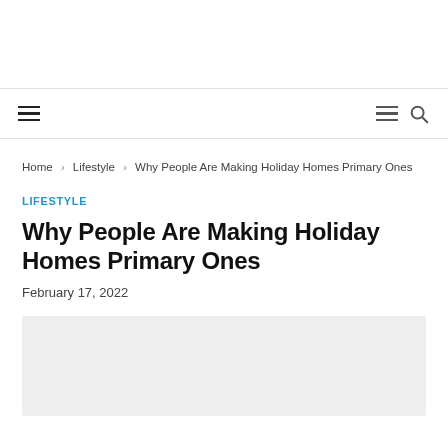Home > Lifestyle > Why People Are Making Holiday Homes Primary Ones
LIFESTYLE
Why People Are Making Holiday Homes Primary Ones
February 17, 2022
[Figure (photo): Article featured image placeholder (light gray box)]